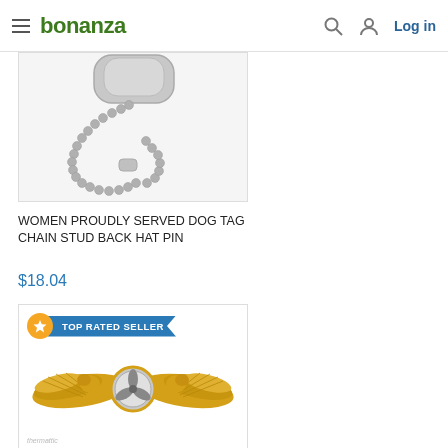bonanza — Log in
[Figure (photo): Product photo: silver ball chain dog tag necklace on white background]
WOMEN PROUDLY SERVED DOG TAG CHAIN STUD BACK HAT PIN
$18.04
[Figure (photo): Product photo: gold naval submarine/warfare qualification badge pin with eagle wings and propeller center medallion, on white background. Has 'TOP RATED SELLER' badge overlay with star icon. Watermark: thermattic]
TOP RATED SELLER